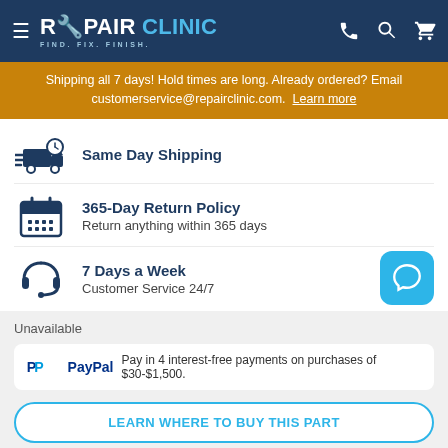REPAIR CLINIC — FIND. FIX. FINISH.
Shipping all 7 days! Hold times are long. Already ordered? Email customerservice@repairclinic.com. Learn more
Same Day Shipping
365-Day Return Policy — Return anything within 365 days
7 Days a Week — Customer Service 24/7
Unavailable
PayPal — Pay in 4 interest-free payments on purchases of $30-$1,500.
LEARN WHERE TO BUY THIS PART